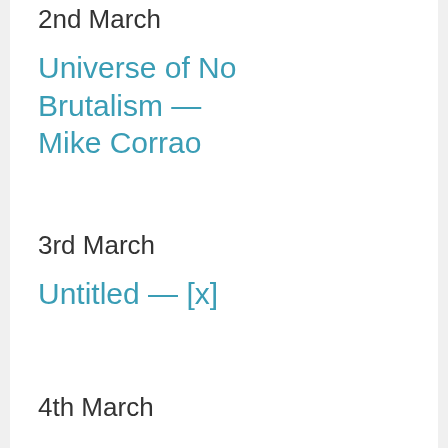2nd March
Universe of No Brutalism — Mike Corrao
3rd March
Untitled — [x]
4th March